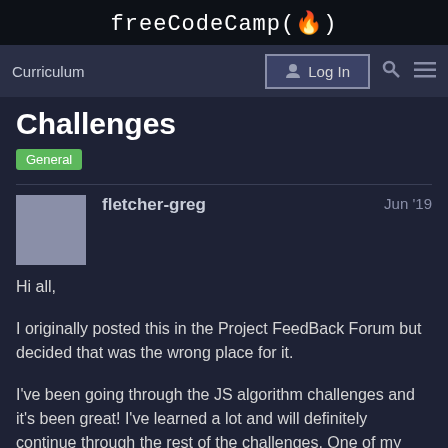freeCodeCamp(🔥)
Curriculum  Log In
Challenges
General
fletcher-greg   Jun '19
Hi all,
I originally posted this in the Project FeedBack Forum but decided that was the wrong place for it.
I've been going through the JS algorithm challenges and it's been great! I've learned a lot and will definitely continue through the rest of the challenges. One of my favorite parts of each challenge is that there are multiple ways to solve them. These different